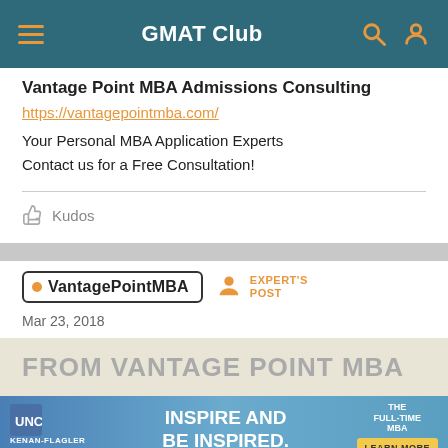GMAT Club
Vantage Point MBA Admissions Consulting
https://vantagepointmba.com/
Your Personal MBA Application Experts
Contact us for a Free Consultation!
Kudos
VantagePointMBA
EXPERT'S POST
Mar 23, 2018
[Figure (screenshot): UNC Kenan-Flagler Business School advertisement: 'INSPIRE AND BE INSPIRED. THE FULL-TIME MBA. LEARN MORE']